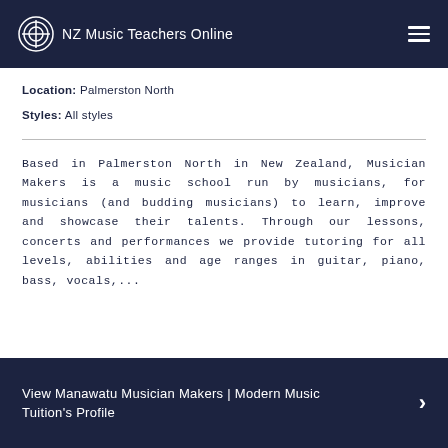NZ Music Teachers Online
Location: Palmerston North
Styles: All styles
Based in Palmerston North in New Zealand, Musician Makers is a music school run by musicians, for musicians (and budding musicians) to learn, improve and showcase their talents. Through our lessons, concerts and performances we provide tutoring for all levels, abilities and age ranges in guitar, piano, bass, vocals,...
View Manawatu Musician Makers | Modern Music Tuition's Profile